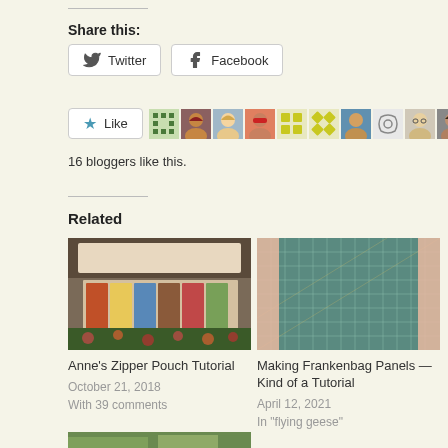Share this:
[Figure (other): Twitter and Facebook share buttons]
[Figure (other): Like button with 10 blogger avatars]
16 bloggers like this.
Related
[Figure (photo): Anne's Zipper Pouch - a quilted zipper bag with colorful fabric]
[Figure (photo): Making Frankenbag Panels - cutting mat with fabric pieces]
Anne's Zipper Pouch Tutorial
October 21, 2018
With 39 comments
Making Frankenbag Panels — Kind of a Tutorial
April 12, 2021
In "flying geese"
[Figure (photo): Partial view of a third related post image (outdoor/garden scene)]